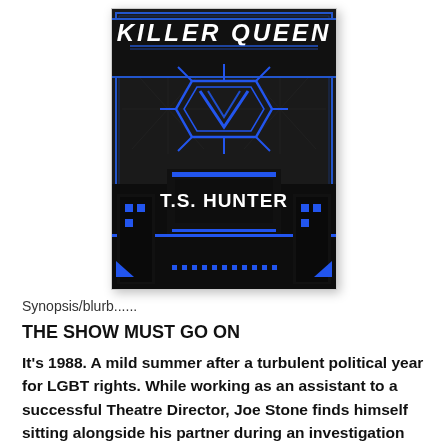[Figure (illustration): Book cover for 'Killer Queen' by T.S. Hunter. Dark art deco style design with blue and black colors. Text 'KILLER QUEEN' in large white lettering on a diagonal banner across the top. Blue geometric/art deco decorative shapes in the center. Silhouette of city buildings at the bottom with blue accents. Author name 'T.S. HUNTER' in large white text over the building silhouette.]
Synopsis/blurb......
THE SHOW MUST GO ON
It's 1988. A mild summer after a turbulent political year for LGBT rights. While working as an assistant to a successful Theatre Director, Joe Stone finds himself sitting alongside his partner during an investigation